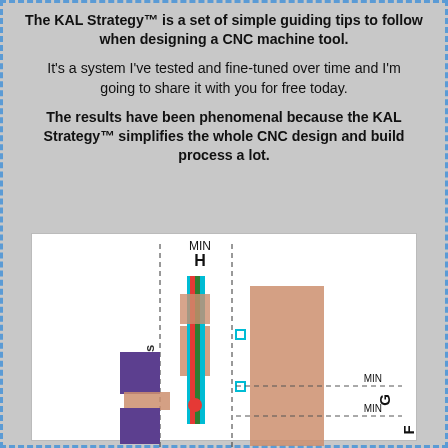The KAL Strategy™ is a set of simple guiding tips to follow when designing a CNC machine tool.
It's a system I've tested and fine-tuned over time and I'm going to share it with you for free today.
The results have been phenomenal because the KAL Strategy™ simplifies the whole CNC design and build process a lot.
[Figure (engineering-diagram): CNC machine tool Z-axis diagram showing MIN H dimension at top, Z Axis label on vertical axis, with colored components (red, cyan, green, dark blue rectangles) and brown/salmon colored blocks. Dashed center lines mark MIN G and MIN F dimensions on the right side. A cyan square marker and red dot indicate reference points on the assembly.]